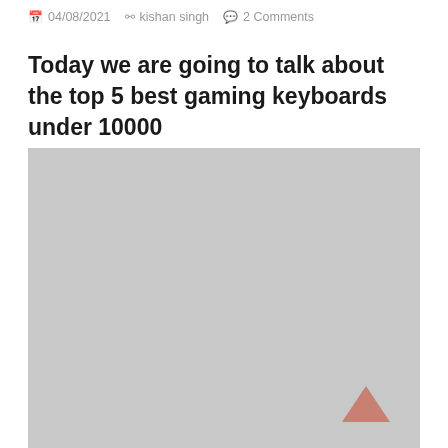04/08/2021  kishan singh  2 Comments
Today we are going to talk about the top 5 best gaming keyboards under 10000
[Figure (photo): A large grey placeholder image area with a salmon/coral colored upward chevron arrow in the bottom right corner.]